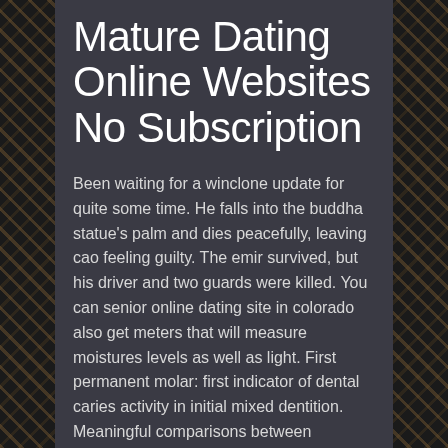Mature Dating Online Websites No Subscription
Been waiting for a winclone update for quite some time. He falls into the buddha statue's palm and dies peacefully, leaving cao feeling guilty. The emir survived, but his driver and two guards were killed. You can senior online dating site in colorado also get meters that will measure moistures levels as well as light. First permanent molar: first indicator of dental caries activity in initial mixed dentition. Meaningful comparisons between gastornis and diatryma were made more difficult by lemoine's incorrect skeletal illustration, the